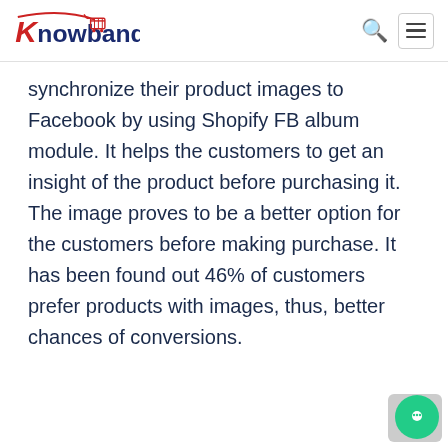Knowband
synchronize their product images to Facebook by using Shopify FB album module. It helps the customers to get an insight of the product before purchasing it. The image proves to be a better option for the customers before making purchase. It has been found out 46% of customers prefer products with images, thus, better chances of conversions.